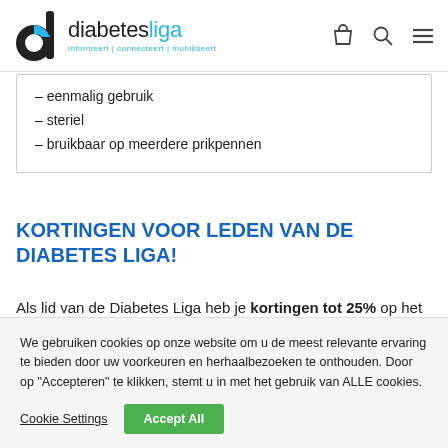diabetesliga — informeert | connecteert | mobiliseert
– eenmalig gebruik
– steriel
– bruikbaar op meerdere prikpennen
KORTINGEN VOOR LEDEN VAN DE DIABETES LIGA!
Als lid van de Diabetes Liga heb je kortingen tot 25% op het materiaal in de webshop. Om te genieten van je
We gebruiken cookies op onze website om u de meest relevante ervaring te bieden door uw voorkeuren en herhaalbezoeken te onthouden. Door op "Accepteren" te klikken, stemt u in met het gebruik van ALLE cookies.
Cookie Settings | Accept All